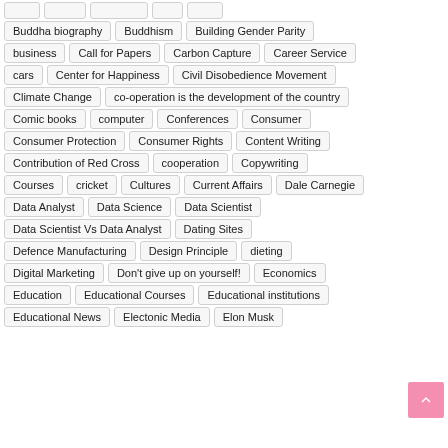Buddha biography
Buddhism
Building Gender Parity
business
Call for Papers
Carbon Capture
Career Service
cars
Center for Happiness
Civil Disobedience Movement
Climate Change
co-operation is the development of the country
Comic books
computer
Conferences
Consumer
Consumer Protection
Consumer Rights
Content Writing
Contribution of Red Cross
cooperation
Copywriting
Courses
cricket
Cultures
Current Affairs
Dale Carnegie
Data Analyst
Data Science
Data Scientist
Data Scientist Vs Data Analyst
Dating Sites
Defence Manufacturing
Design Principle
dieting
Digital Marketing
Don't give up on yourself!
Economics
Education
Educational Courses
Educational institutions
Educational News
Electonic Media
Elon Musk